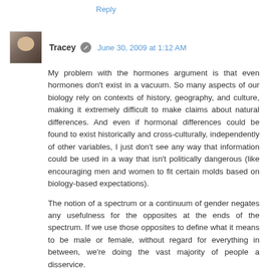Reply
Tracey  June 30, 2009 at 1:12 AM
My problem with the hormones argument is that even hormones don't exist in a vacuum. So many aspects of our biology rely on contexts of history, geography, and culture, making it extremely difficult to make claims about natural differences. And even if hormonal differences could be found to exist historically and cross-culturally, independently of other variables, I just don't see any way that information could be used in a way that isn't politically dangerous (like encouraging men and women to fit certain molds based on biology-based expectations).
The notion of a spectrum or a continuum of gender negates any usefulness for the opposites at the ends of the spectrum. If we use those opposites to define what it means to be male or female, without regard for everything in between, we're doing the vast majority of people a disservice.